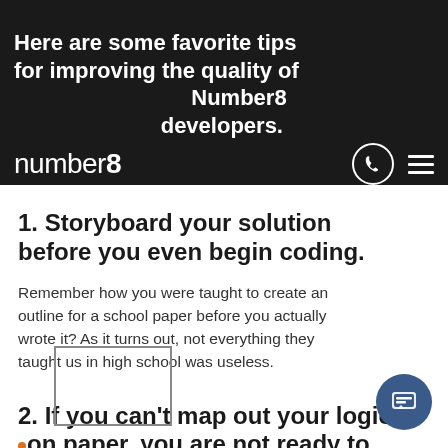Here are some favorite tips for improving the quality of Number8 developers.
[Figure (logo): number8 logo with phone icon and hamburger menu on dark background]
1. Storyboard your solution before you even begin coding.
Remember how you were taught to create an outline for a school paper before you actually wrote it? As it turns out, not everything they taught us in high school was useless.
2. If you can't map out your logic on paper, you are not ready to start writing your code.
You should be confident enough in your vision to